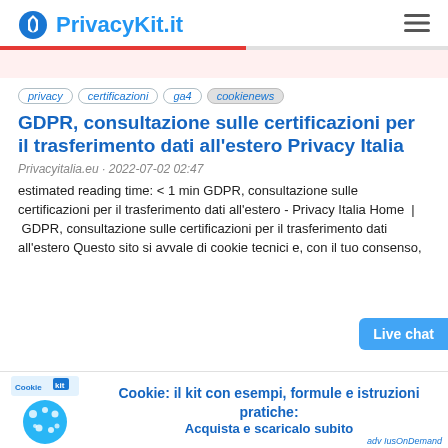PrivacyKit.it
privacy
certificazioni
ga4
cookienews
GDPR, consultazione sulle certificazioni per il trasferimento dati all’estero Privacy Italia
Privacyitalia.eu · 2022-07-02 02:47
estimated reading time: < 1 min GDPR, consultazione sulle certificazioni per il trasferimento dati all’estero - Privacy Italia Home | GDPR, consultazione sulle certificazioni per il trasferimento dati all’estero Questo sito si avvale di cookie tecnici e, con il tuo consenso,
[Figure (illustration): Cookie kit logo with blue cookie icon and CookieKit text]
Cookie: il kit con esempi, formule e istruzioni pratiche: Acquista e scaricalo subito
adv IusOnDemand